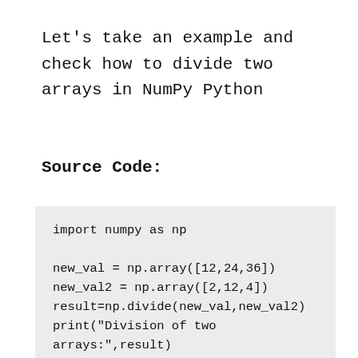Let's take an example and check how to divide two arrays in NumPy Python
Source Code:
import numpy as np

new_val = np.array([12,24,36])
new_val2 = np.array([2,12,4])
result=np.divide(new_val,new_val2)
print("Division of two
arrays:",result)